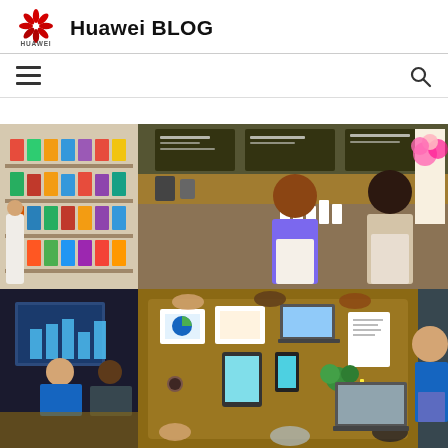Huawei BLOG
[Figure (logo): Huawei red flower logo with HUAWEI text below]
[Figure (photo): Collage of business/SME photos: grocery store, coffee shop owners, office meeting, overhead desk work session]